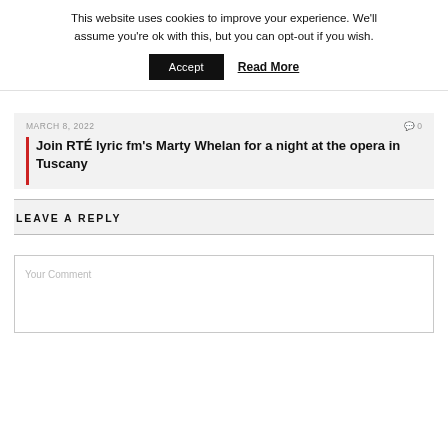This website uses cookies to improve your experience. We'll assume you're ok with this, but you can opt-out if you wish.
Accept   Read More
MARCH 8, 2022   0
Join RTÉ lyric fm's Marty Whelan for a night at the opera in Tuscany
LEAVE A REPLY
Your Comment